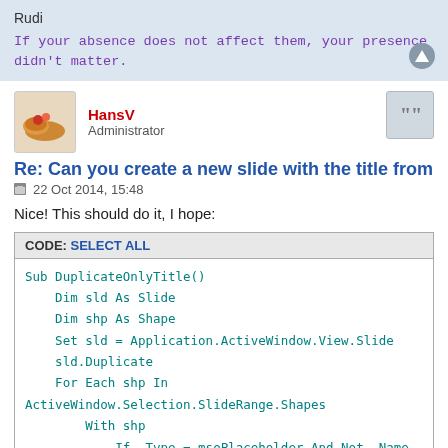Rudi
If your absence does not affect them, your presence didn't matter.
HansV
Administrator
Re: Can you create a new slide with the title from the previ
22 Oct 2014, 15:48
Nice! This should do it, I hope:
CODE: SELECT ALL
Sub DuplicateOnlyTitle()
    Dim sld As Slide
    Dim shp As Shape
    Set sld = Application.ActiveWindow.View.Slide
    sld.Duplicate
    For Each shp In ActiveWindow.Selection.SlideRange.Shapes
        With shp
            If .Type = msoPlaceholder And Not .Name Like "Ti
                .TextFrame.TextRange.Text = ""
            End If
        End With
    Next shp
End Sub